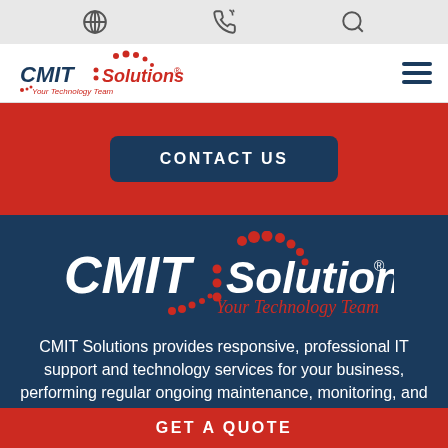[Figure (screenshot): Website screenshot of CMIT Solutions page showing navigation bar with utility icons, red hero section with Contact Us button, dark blue section with CMIT Solutions logo and tagline, descriptive text about IT services, and a red Get A Quote bar at the bottom.]
CMIT Solutions® Your Technology Team
CMIT Solutions provides responsive, professional IT support and technology services for your business, performing regular ongoing maintenance, monitoring, and backups, everything necessary to ensure an efficient, safe, and reliable IT environment